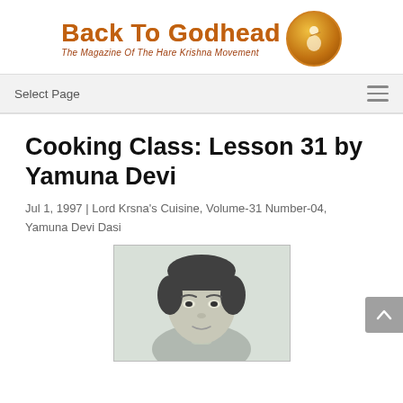Back To Godhead — The Magazine Of The Hare Krishna Movement
Select Page
Cooking Class: Lesson 31 by Yamuna Devi
Jul 1, 1997 | Lord Krsna's Cuisine, Volume-31 Number-04, Yamuna Devi Dasi
[Figure (photo): Black and white portrait photograph of Yamuna Devi, a woman with dark hair, looking at the camera]